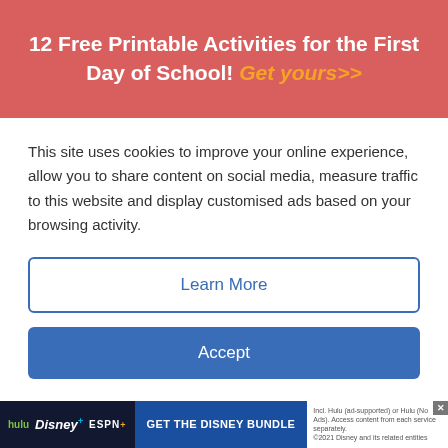12 Free Printable Activities for the First Day of School! Get yours>>
[Figure (screenshot): Partial view of an advertisement banner showing 'THE ULTIMATE STREAMING TRIO' on a dark blue background]
This site uses cookies to improve your online experience, allow you to share content on social media, measure traffic to this website and display customised ads based on your browsing activity.
Learn More
Accept
Pilot V Board Master Refillable
< See More School Supply Picks & Tips
[Figure (screenshot): Disney Bundle advertisement bar showing Hulu, Disney+, ESPN+ logos with 'GET THE DISNEY BUNDLE' button and fine print]